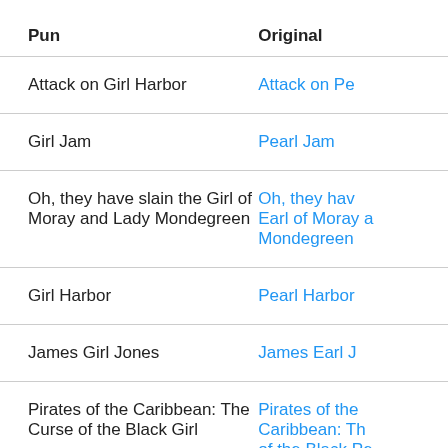| Pun | Original |
| --- | --- |
| Attack on Girl Harbor | Attack on Pe… |
| Girl Jam | Pearl Jam |
| Oh, they have slain the Girl of Moray and Lady Mondegreen | Oh, they hav… Earl of Moray a… Mondegreen |
| Girl Harbor | Pearl Harbor |
| James Girl Jones | James Earl J… |
| Pirates of the Caribbean: The Curse of the Black Girl | Pirates of the Caribbean: Th… of the Black Pe… |